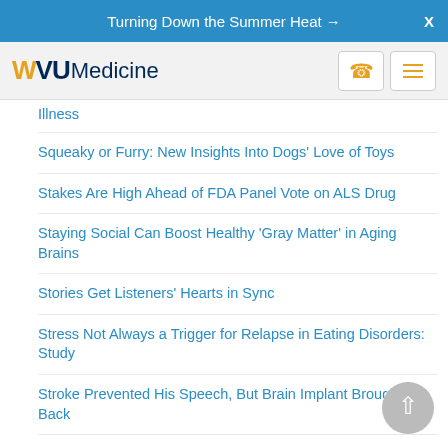Turning Down the Summer Heat →  X
WVU Medicine
Illness
Squeaky or Furry: New Insights Into Dogs' Love of Toys
Stakes Are High Ahead of FDA Panel Vote on ALS Drug
Staying Social Can Boost Healthy 'Gray Matter' in Aging Brains
Stories Get Listeners' Hearts in Sync
Stress Not Always a Trigger for Relapse in Eating Disorders: Study
Stroke Prevented His Speech, But Brain Implant Brought It Back
Stroke, Confusion: COVID-19 Often Impacts the Brain, Study Shows
Studies Relying on Brain Scans Are Often Unreliable, Analysis Shows